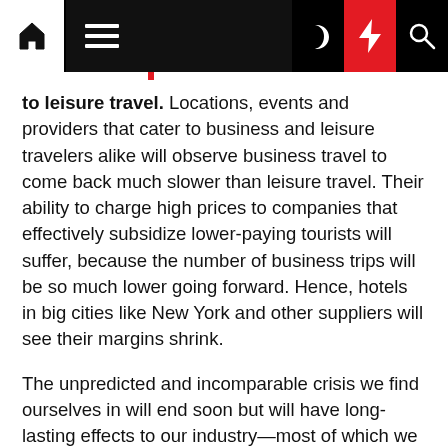[Navigation bar with home, menu, moon, lightning, search icons]
to leisure travel. Locations, events and providers that cater to business and leisure travelers alike will observe business travel to come back much slower than leisure travel. Their ability to charge high prices to companies that effectively subsidize lower-paying tourists will suffer, because the number of business trips will be so much lower going forward. Hence, hotels in big cities like New York and other suppliers will see their margins shrink.
The unpredicted and incomparable crisis we find ourselves in will end soon but will have long-lasting effects to our industry—most of which we will only start to understand in the months to come. The question as to when we will see pre-crisis business volumes will be the least of our worries.